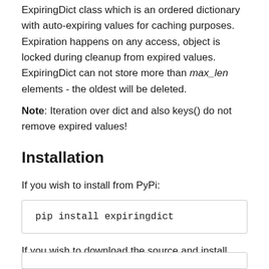ExpiringDict class which is an ordered dictionary with auto-expiring values for caching purposes. Expiration happens on any access, object is locked during cleanup from expired values. ExpiringDict can not store more than max_len elements - the oldest will be deleted.
Note: Iteration over dict and also keys() do not remove expired values!
Installation
If you wish to install from PyPi:
pip install expiringdict
If you wish to download the source and install from GitHub: